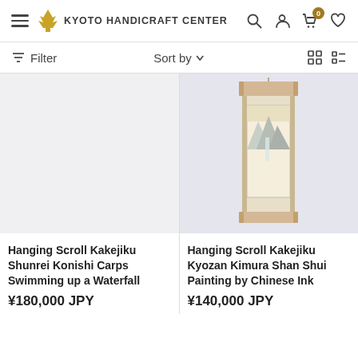Kyoto Handicraft Center
Filter  Sort by
[Figure (photo): Empty light grey product image placeholder for Hanging Scroll Kakejiku Shunrei Konishi Carps Swimming up a Waterfall]
[Figure (photo): Photo of a hanging scroll (kakejiku) showing a Chinese ink Shan Shui landscape painting with mountains and waterfall, displayed against a light purple-grey wall]
Hanging Scroll Kakejiku Shunrei Konishi Carps Swimming up a Waterfall
¥180,000 JPY
Hanging Scroll Kakejiku Kyozan Kimura Shan Shui Painting by Chinese Ink
¥140,000 JPY